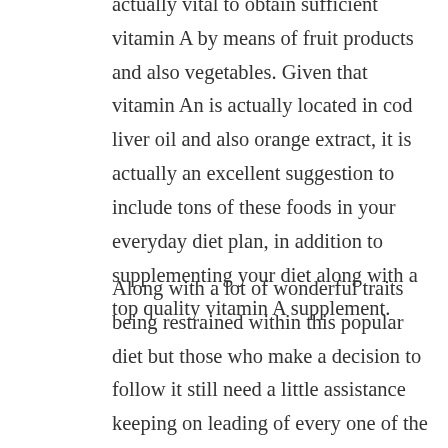actually vital to obtain sufficient vitamin A by means of fruit products and also vegetables. Given that vitamin An is actually located in cod liver oil and also orange extract, it is actually an excellent suggestion to include tons of these foods in your everyday diet plan, in addition to supplementing your diet along with a top quality vitamin A supplement.
Along with a lot of wonderful traits being restrained within this popular diet but those who make a decision to follow it still need a little assistance keeping on leading of every one of the important nutrients along with merely one the best to nutritional supplement around. Through eating even more keto, essentially you are actually putting your physical body in to a natural state of ketosis, which implies it is actually